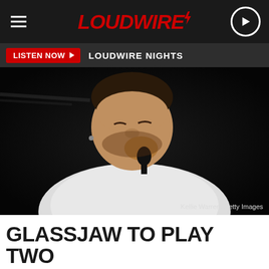LOUDWIRE
LISTEN NOW  LOUDWIRE NIGHTS
[Figure (photo): A male singer performing, leaning forward with eyes closed, holding a microphone close to his mouth, wearing a white t-shirt. Dark background. Photo credit: Kellie Warren, Getty Images.]
Kellie Warren, Getty Images
GLASSJAW TO PLAY TWO CLASSIC ALBUM SETS DURING